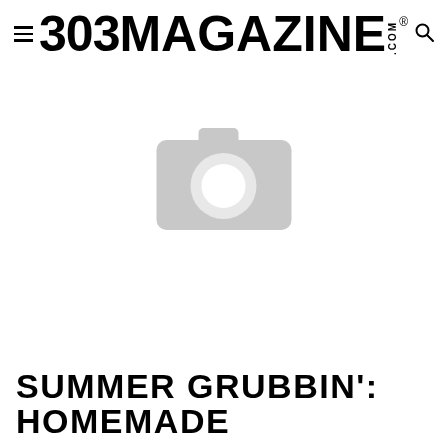303 MAGAZINE .COM ®
[Figure (photo): Placeholder image thumbnail with a grey camera icon indicating a missing or unloaded photo]
SUMMER GRUBBIN': HOMEMADE